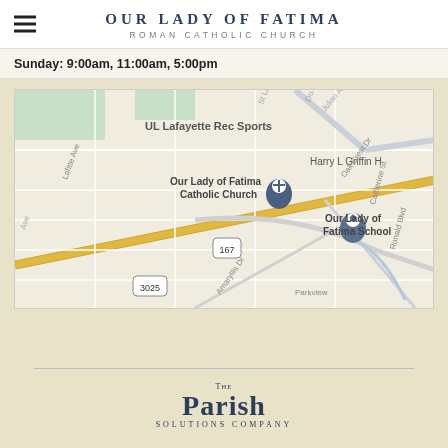OUR LADY OF FATIMA
ROMAN CATHOLIC CHURCH
Sunday: 9:00am, 11:00am, 5:00pm
[Figure (map): Google Maps screenshot showing the location of Our Lady of Fatima Catholic Church in Lafayette, LA. Nearby landmarks include UL Lafayette Rec Sports, Our Lady of Fatima School, Harry L Griffin H[wy], and roads including St Landry, Amaryllis Dr, Parkview, Ronald Blvd, Catherine St, Oak Crest Dr, Julian Ave. Route 167 and 3025 are visible.]
[Figure (logo): The Parish Solutions Company logo — 'THE' in small caps above 'PARISH' in large serif text, with 'SOLUTIONS COMPANY' in small spaced caps below.]